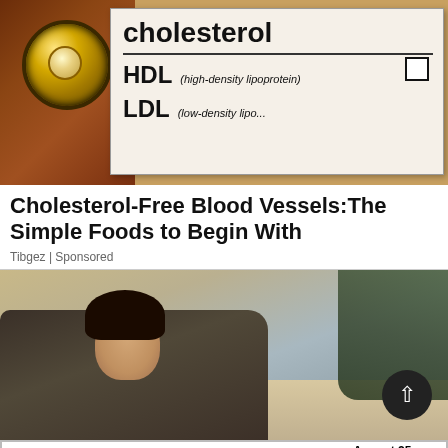[Figure (photo): Medical cholesterol form with HDL (high-density lipoprotein) and LDL (low-density lipoprotein) labels, with a stethoscope on the left side on a dark wooden background]
Cholesterol-Free Blood Vessels:The Simple Foods to Begin With
Tibgez | Sponsored
[Figure (photo): A smiling woman lying on a couch talking on the phone, wearing a blue long-sleeve shirt, in a room with natural light]
[Figure (infographic): Advertisement banner: Looking for work or a new career? August 25, 11AM - 3PM. Featuring 25+ Exhibitors and Growing! CLICK HERE]